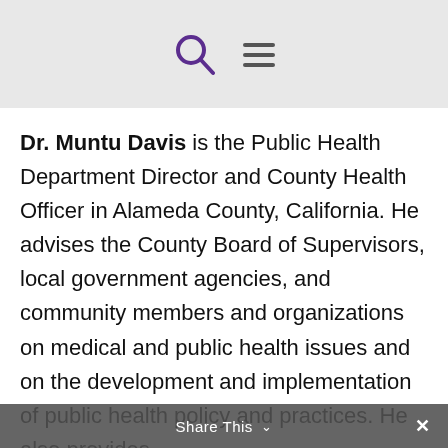[search icon] [menu icon]
Dr. Muntu Davis is the Public Health Department Director and County Health Officer in Alameda County, California. He advises the County Board of Supervisors, local government agencies, and community members and organizations on medical and public health issues and on the development and implementation of public health policy and practices. He also provides
Share This ∨  ✕